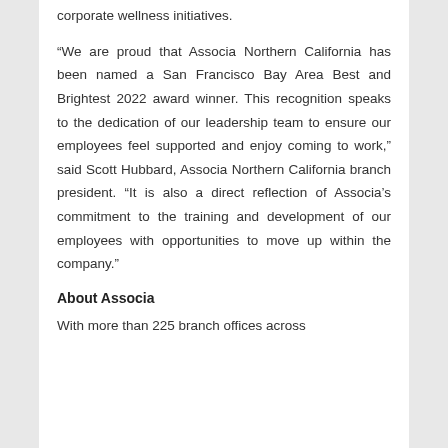corporate wellness initiatives.
“We are proud that Associa Northern California has been named a San Francisco Bay Area Best and Brightest 2022 award winner. This recognition speaks to the dedication of our leadership team to ensure our employees feel supported and enjoy coming to work,” said Scott Hubbard, Associa Northern California branch president. “It is also a direct reflection of Associa’s commitment to the training and development of our employees with opportunities to move up within the company.”
About Associa
With more than 225 branch offices across